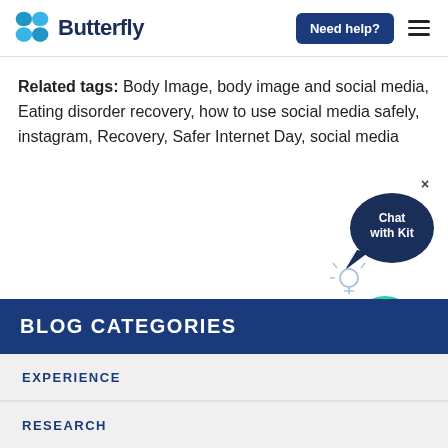Butterfly — Need help?
Related tags: Body Image, body image and social media, Eating disorder recovery, how to use social media safely, instagram, Recovery, Safer Internet Day, social media
BLOG CATEGORIES
EXPERIENCE
RESEARCH
[Figure (illustration): Animated chatbot mascot 'Kit' — a green teardrop shape with eyes and arms, holding a pencil, with a speech bubble saying 'Chat with Kit' and a dark navy cloud shape behind it, plus a lightbulb icon. A close (×) button appears at top right.]